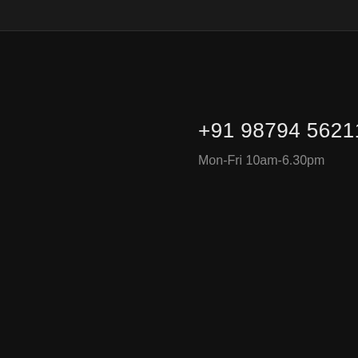+91 98794 56211
Mon-Fri 10am-6.30pm